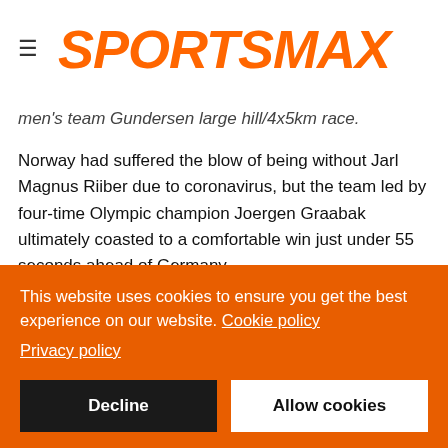SPORTSMAX
men's team Gundersen large hill/4x5km race.
Norway had suffered the blow of being without Jarl Magnus Riiber due to coronavirus, but the team led by four-time Olympic champion Joergen Graabak ultimately coasted to a comfortable win just under 55 seconds ahead of Germany.
Although that was Norway's only medal of any kind on the day, it was enough to increase their lead to four over 10 gold Germany, who — like the United States in third
This website uses cookies to ensure you get the best experience on our website. Cookie policy Privacy policy
Decline
Allow cookies